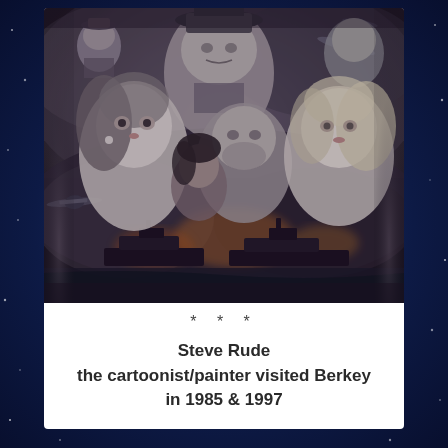[Figure (illustration): Black and white dramatic illustration showing multiple characters — military officers, women, and a muscular man — composited together with warships, explosions, smoke, and aircraft in the background, reminiscent of a movie poster or pulp art style painting.]
* * *
Steve Rude the cartoonist/painter visited Berkey in 1985 & 1997